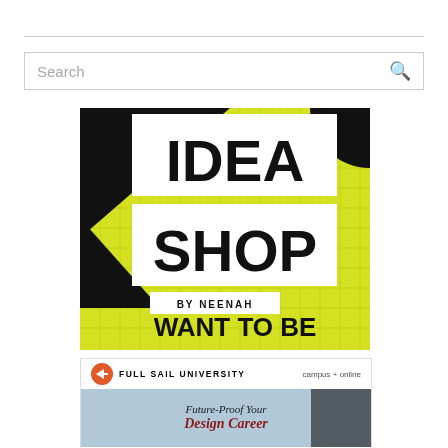Search
[Figure (illustration): Idea Shop by Neenah advertisement. Yellow grid background with black geometric shapes. White bordered text boxes reading IDEA SHOP BY NEENAH. Bottom text: WANT TO BE INSPIRED?]
[Figure (illustration): Full Sail University advertisement with orange circular logo. Text: FULL SAIL UNIVERSITY campus + online. Below: Future-Proof Your Design Career]